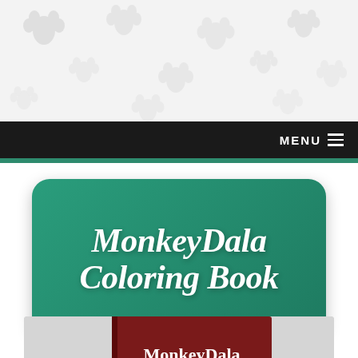[Figure (screenshot): Website header area with repeating paw print watermark pattern on light gray/white background]
MENU ☰
[Figure (logo): MonkeyDala Coloring Book logo — white decorative serif italic text on teal/green rounded rectangle banner with drop shadow]
[Figure (photo): Partial photo of a MonkeyDala Coloring Book (dark red/maroon book cover with MonkeyDala logo and monkey illustration) propped up with a green plant sprig in front, on gray background — image is cut off at the bottom of the page]